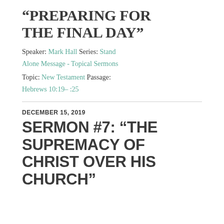“PREPARING FOR THE FINAL DAY”
Speaker: Mark Hall Series: Stand Alone Message - Topical Sermons
Topic: New Testament Passage: Hebrews 10:19– :25
DECEMBER 15, 2019
SERMON #7: “THE SUPREMACY OF CHRIST OVER HIS CHURCH”